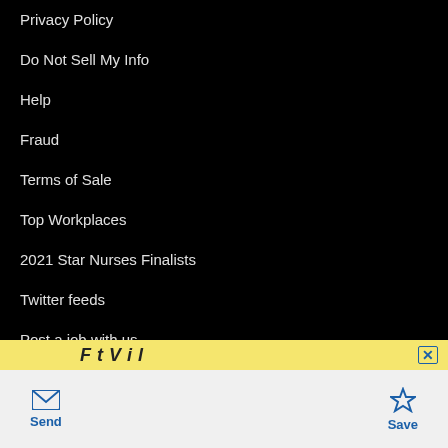Privacy Policy
Do Not Sell My Info
Help
Fraud
Terms of Sale
Top Workplaces
2021 Star Nurses Finalists
Twitter feeds
Post a job with us
Search employers
Popular Searches
[Figure (screenshot): Advertisement banner with yellow background showing partial text]
Send   Save